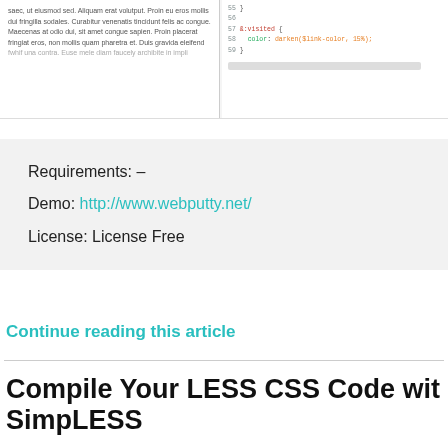[Figure (screenshot): Top strip showing two panels: left panel with lorem ipsum body text, right panel with CSS code snippet showing &:visited selector with color: darken($link-color, 15%)]
Requirements: –
Demo: http://www.webputty.net/
License: License Free
Continue reading this article
Compile Your LESS CSS Code with SimpLESS
Posted · Category: CC License, Code, Tools
LESS extends CSS with dynamic behavior such as...